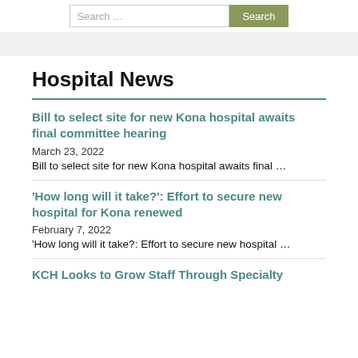Search ...  Search
Hospital News
Bill to select site for new Kona hospital awaits final committee hearing | March 23, 2022 | Bill to select site for new Kona hospital awaits final …
‘How long will it take?’: Effort to secure new hospital for Kona renewed | February 7, 2022 | ‘How long will it take?: Effort to secure new hospital …
KCH Looks to Grow Staff Through Specialty